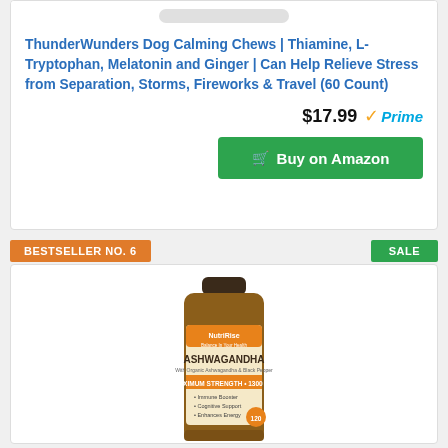[Figure (photo): Partial product image (top cut off) of ThunderWunders Dog Calming Chews container]
ThunderWunders Dog Calming Chews | Thiamine, L-Tryptophan, Melatonin and Ginger | Can Help Relieve Stress from Separation, Storms, Fireworks & Travel (60 Count)
$17.99 Prime
Buy on Amazon
BESTSELLER NO. 6
SALE
[Figure (photo): NutriRise Ashwagandha supplement bottle — Maximum Strength 1300mg, all natural, with Organic Ashwagandha & Black Pepper. Features: Immune Booster, Cognitive Support, Enhances Energy. 120 capsules.]